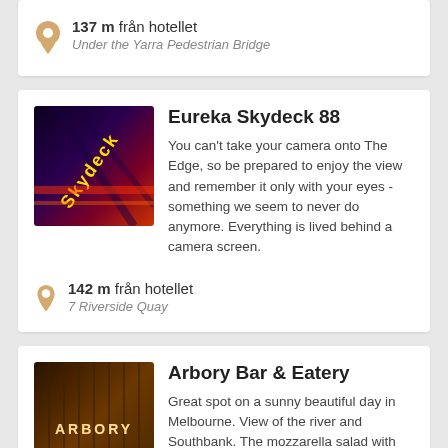137 m från hotellet
Under the Yarra Pedestrian Bridge
Eureka Skydeck 88
You can't take your camera onto The Edge, so be prepared to enjoy the view and remember it only with your eyes - something we seem to never do anymore. Everything is lived behind a camera screen.
142 m från hotellet
7 Riverside Quay
[Figure (photo): Photo of Eureka Skydeck 88 neon sign with purple and red lighting]
Arbory Bar & Eatery
Great spot on a sunny beautiful day in Melbourne. View of the river and Southbank. The mozzarella salad with artichoke and
[Figure (photo): Photo of Arbory Bar sign with warm wood tones and illuminated ARBORY text]